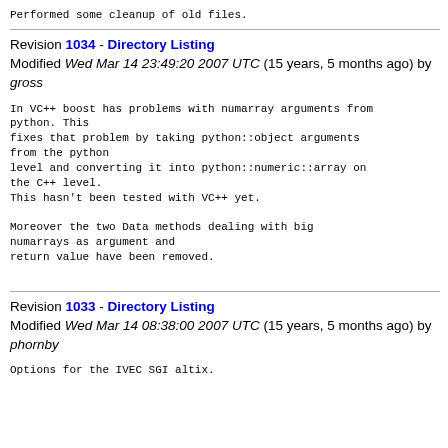Performed some cleanup of old files.
Revision 1034 - Directory Listing
Modified Wed Mar 14 23:49:20 2007 UTC (15 years, 5 months ago) by gross
In VC++ boost has problems with numarray arguments from python. This
fixes that problem by taking python::object arguments from the python
level and converting it into python::numeric::array on the C++ level.
This hasn't been tested with VC++ yet.

Moreover the two Data methods dealing with big numarrays as argument and
return value have been removed.
Revision 1033 - Directory Listing
Modified Wed Mar 14 08:38:00 2007 UTC (15 years, 5 months ago) by phornby
Options for the IVEC SGI altix.